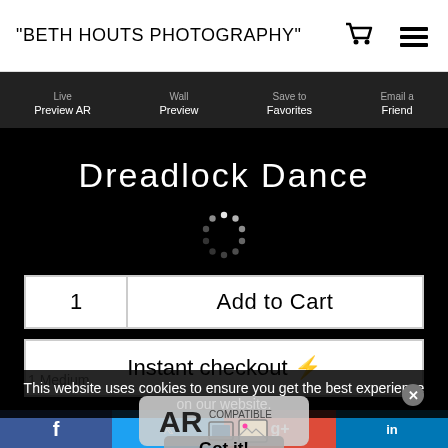"BETH HOUTS PHOTOGRAPHY"
Live Preview AR | Wall Preview | Save to Favorites | Email a Friend
Dreadlock Dance
[Figure (other): Loading spinner dots arranged in a circle on black background]
1
Add to Cart
Instant checkout ⚡
1 Medium
This website uses cookies to ensure you get the best experience on our website.
[Figure (logo): AR Compatible badge logo]
Got it!